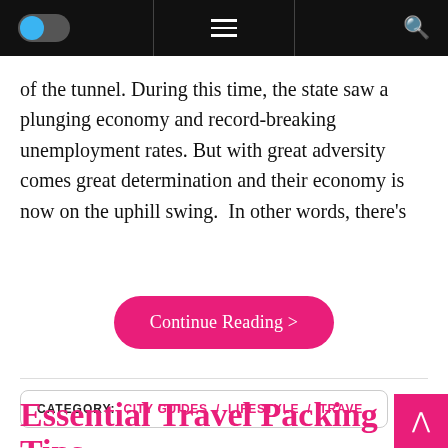[Navigation bar with toggle switch, hamburger menu, and search icon]
of the tunnel. During this time, the state saw a plunging economy and record-breaking unemployment rates. But with great adversity comes great determination and their economy is now on the uphill swing. In other words, there’s
Continue Reading >
CATEGORY:  CITY GUIDES / LIFESTYLE / TRAVEL
Essential Travel Packing Tips